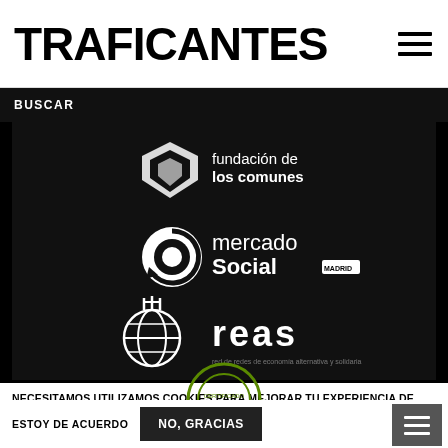TRAFICANTES
BUSCAR
[Figure (logo): Three logos on dark background: 'fundacion de los comunes', 'mercado Social MADRID', and 'reas' network logo]
NECESITAMOS UTILIZAMOS COOKIES PARA MEJORAR TU EXPERIENCIA DE USUARIO
¿Das el consentimiento? NO, QUIERO SABER MÁS
ESTOY DE ACUERDO
NO, GRACIAS